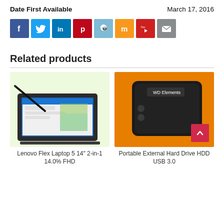Date First Available   March 17, 2016
[Figure (infographic): Social media share buttons: Facebook (blue), Twitter (blue), LinkedIn (blue), Pinterest (red), Reddit (light blue), Manta (orange), YouTube (red), Email (gray)]
Related products
[Figure (photo): Lenovo Flex Laptop 5 14 inch 2-in-1 touchscreen laptop with stylus on a light green background]
[Figure (photo): Portable External Hard Drive HDD USB 3.0 WD Elements on orange background]
Lenovo Flex Laptop 5 14" 2-in-1 14.0% FHD
Portable External Hard Drive HDD USB 3.0